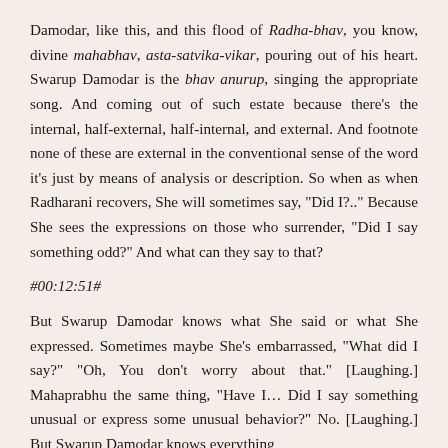Damodar, like this, and this flood of Radha-bhav, you know, divine mahabhav, asta-satvika-vikar, pouring out of his heart. Swarup Damodar is the bhav anurup, singing the appropriate song. And coming out of such estate because there’s the internal, half-external, half-internal, and external. And footnote none of these are external in the conventional sense of the word it’s just by means of analysis or description. So when as when Radharani recovers, She will sometimes say, “Did I?..” Because She sees the expressions on those who surrender, “Did I say something odd?” And what can they say to that?
#00:12:51#
But Swarup Damodar knows what She said or what She expressed. Sometimes maybe She’s embarrassed, “What did I say?” “Oh, You don’t worry about that.” [Laughing.] Mahaprabhu the same thing, “Have I… Did I say something unusual or express some unusual behavior?” No. [Laughing.] But Swarup Damodar knows everything